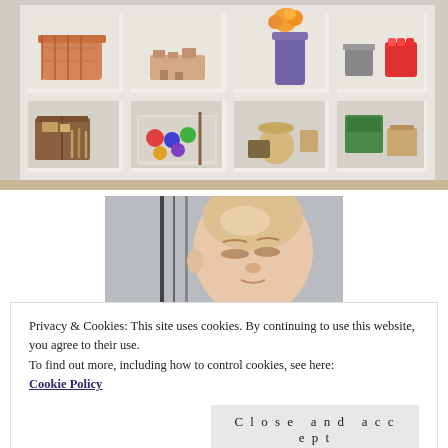[Figure (photo): White cubby shelf unit with various Montessori toys and materials arranged in compartments — baskets, wooden objects, colorful items, small boxes and trays on a carpeted floor]
[Figure (photo): Close-up photo of a young baby or toddler with eyes closed or looking down, soft focus background with vertical lines]
Privacy & Cookies: This site uses cookies. By continuing to use this website, you agree to their use.
To find out more, including how to control cookies, see here:
Cookie Policy
Close and accept
[Figure (photo): Partial view of another photo at the bottom of the page]